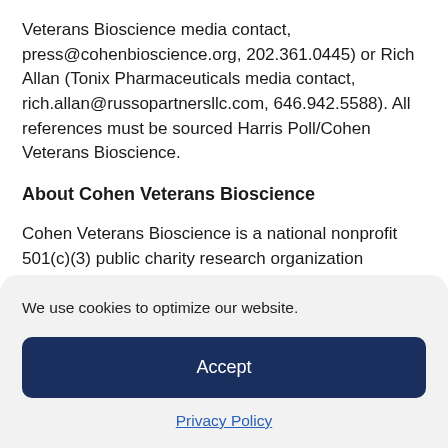Veterans Bioscience media contact, press@cohenbioscience.org, 202.361.0445) or Rich Allan (Tonix Pharmaceuticals media contact, rich.allan@russopartnersllc.com, 646.942.5588). All references must be sourced Harris Poll/Cohen Veterans Bioscience.
About Cohen Veterans Bioscience
Cohen Veterans Bioscience is a national nonprofit 501(c)(3) public charity research organization dedicated to fast-tracking the development of diagnostic tests and personalized therapeutics for the millions of veterans and civilians who suffer the devastating effects of trauma-related
We use cookies to optimize our website.
Accept
Privacy Policy